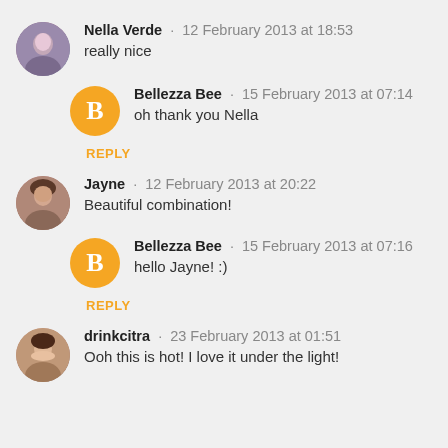Nella Verde · 12 February 2013 at 18:53
really nice
Bellezza Bee · 15 February 2013 at 07:14
oh thank you Nella
REPLY
Jayne · 12 February 2013 at 20:22
Beautiful combination!
Bellezza Bee · 15 February 2013 at 07:16
hello Jayne! :)
REPLY
drinkcitra · 23 February 2013 at 01:51
Ooh this is hot! I love it under the light!